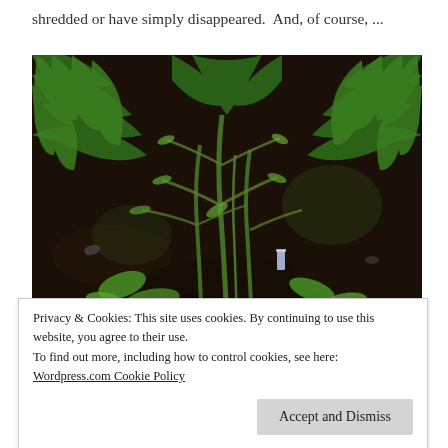shredded or have simply disappeared.  And, of course, ...
[Figure (photo): Close-up photograph of fern plants and other greenery growing in dark soil/mulch. The plants show bare stems with sparse remaining leaves, surrounded by lush fern fronds.]
Privacy & Cookies: This site uses cookies. By continuing to use this website, you agree to their use.
To find out more, including how to control cookies, see here:
Wordpress.com Cookie Policy
Accept and Dismiss
pellets to my left and to my right, it makes little